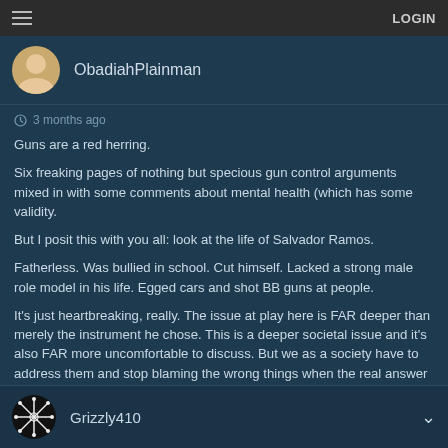LOGIN
ObadiahPlainman
3 months ago
Guns are a red herring.

Six freaking pages of nothing but specious gun control arguments mixed in with some comments about mental health (which has some validity.

But I posit this with you all: look at the life of Salvador Ramos.

Fatherless. Was bullied in school. Cut himself. Lacked a strong male role model in his life. Egged cars and shot BB guns at people.

It's just heartbreaking, really. The issue at play here is FAR deeper than merely the instrument he chose. This is a deeper societal issue and it's also FAR more uncomfortable to discuss. But we as a society have to address them and stop blaming the wrong things when the real answer is broader, deeper, and more complex.
Grizzly410